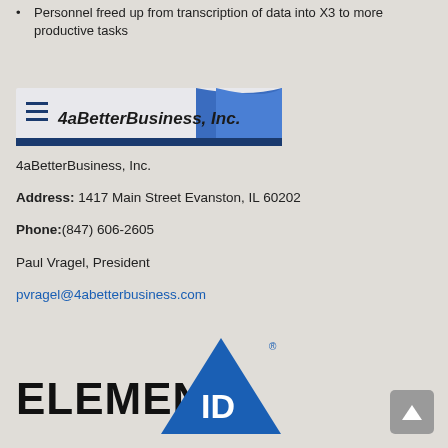Personnel freed up from transcription of data into X3 to more productive tasks
[Figure (logo): 4aBetterBusiness, Inc. logo banner — horizontal banner with dark blue stripe at bottom, blue wave on right, three horizontal lines icon on left, italic bold text '4aBetterBusiness, Inc.' in center]
4aBetterBusiness, Inc.
Address: 1417 Main Street Evanston, IL 60202
Phone:(847) 606-2605
Paul Vragel, President
pvragel@4abetterbusiness.com
[Figure (logo): ElementID logo — bold black text 'ELEMENT' with blue triangle/mountain shape containing white bold text 'ID', small registered trademark symbol at top right of triangle]